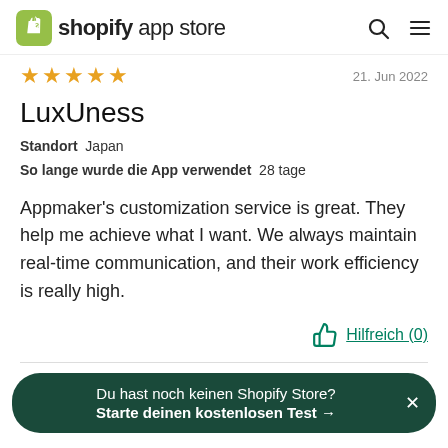shopify app store
21. Jun 2022
LuxUness
Standort  Japan
So lange wurde die App verwendet  28 tage
Appmaker's customization service is great. They help me achieve what I want. We always maintain real-time communication, and their work efficiency is really high.
Hilfreich (0)
Du hast noch keinen Shopify Store?
Starte deinen kostenlosen Test →